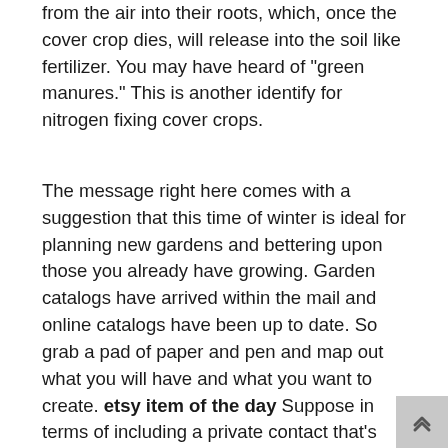from the air into their roots, which, once the cover crop dies, will release into the soil like fertilizer. You may have heard of "green manures." This is another identify for nitrogen fixing cover crops.
The message right here comes with a suggestion that this time of winter is ideal for planning new gardens and bettering upon those you already have growing. Garden catalogs have arrived within the mail and online catalogs have been up to date. So grab a pad of paper and pen and map out what you will have and what you want to create. etsy item of the day Suppose in terms of including a private contact that's particularly yours. Consider including gadgets that can remind you and your visitors that this garden is de facto youâ€[]. This will included